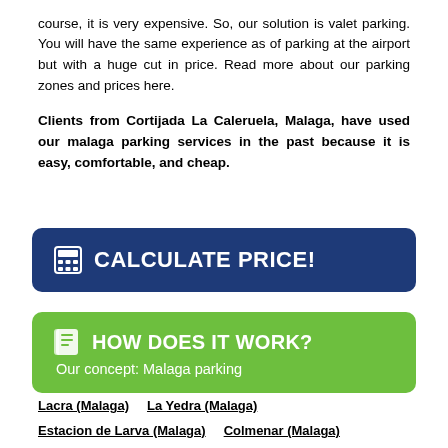course, it is very expensive. So, our solution is valet parking. You will have the same experience as of parking at the airport but with a huge cut in price. Read more about our parking zones and prices here.
Clients from Cortijada La Caleruela, Malaga, have used our malaga parking services in the past because it is easy, comfortable, and cheap.
[Figure (infographic): Dark blue rounded button with calculator icon and text CALCULATE PRICE!]
[Figure (infographic): Green rounded button with book icon, text HOW DOES IT WORK? and subtitle Our concept: Malaga parking]
Lacra (Malaga)
La Yedra (Malaga)
Estacion de Larva (Malaga)
Colmenar (Malaga)